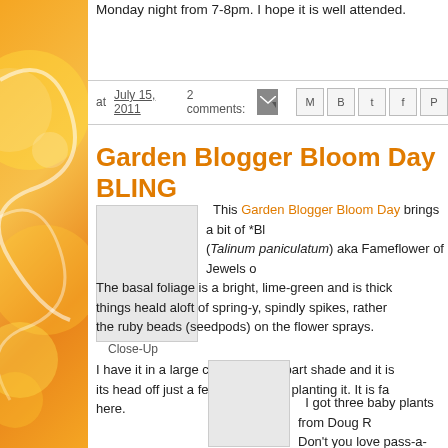Monday night from 7-8pm. I hope it is well attended.
at July 15, 2011  2 comments:
Garden Blogger Bloom Day BLING
This Garden Blogger Bloom Day brings a bit of *Bl... (Talinum paniculatum) aka Fameflower of Jewels o...
The basal foliage is a bright, lime-green and is thick... things heald aloft of spring-y, spindly spikes, rather ... the ruby beads (seedpods) on the flower sprays.
I have it in a large container and part shade and it is... its head off just a few weeks after planting it. It is fa... here.
[Figure (photo): Close-Up photo placeholder]
Close-Up
[Figure (photo): Second photo placeholder]
I got three baby plants from Doug R... Don't you love pass-a-long plants? It... we'll see if I have some to share next...